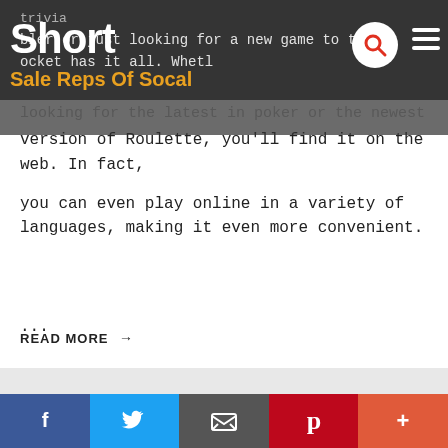Short — Sale Reps Of Socal
version of Roulette, you'll find it on the web. In fact, you can even play online in a variety of languages, making it even more convenient.
...
READ MORE →
ONLINE CASINO GAMES – THE KING OF TABLE GAMES
Facebook Twitter Email Pinterest More